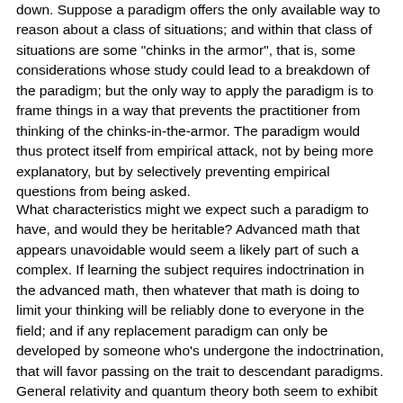down.  Suppose a paradigm offers the only available way to reason about a class of situations; and within that class of situations are some "chinks in the armor", that is, some considerations whose study could lead to a breakdown of the paradigm; but the only way to apply the paradigm is to frame things in a way that prevents the practitioner from thinking of the chinks-in-the-armor.  The paradigm would thus protect itself from empirical attack, not by being more explanatory, but by selectively preventing empirical questions from being asked.
What characteristics might we expect such a paradigm to have, and would they be heritable?  Advanced math that appears unavoidable would seem a likely part of such a complex.  If learning the subject requires indoctrination in the advanced math, then whatever that math is doing to limit your thinking will be reliably done to everyone in the field; and if any replacement paradigm can only be developed by someone who's undergone the indoctrination, that will favor passing on the trait to descendant paradigms.  General relativity and quantum theory both seem to exhibit some degree of this characteristic.  But while advanced math may be an enabler, it might not be enough in itself.  A more